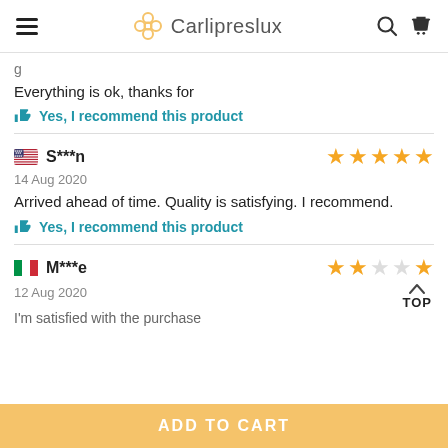Carlipreslux
Everything is ok, thanks for
Yes, I recommend this product
S***n · 14 Aug 2020 · 5 stars
Arrived ahead of time. Quality is satisfying. I recommend.
Yes, I recommend this product
M***e · 12 Aug 2020 · 2 stars
I'm satisfied with the purchase